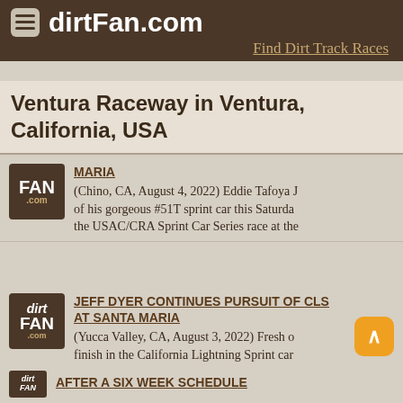dirtFan.com — Find Dirt Track Races
Ventura Raceway in Ventura, California, USA
MARIA (Chino, CA, August 4, 2022) Eddie Tafoya J of his gorgeous #51T sprint car this Saturday the USAC/CRA Sprint Car Series race at the
JEFF DYER CONTINUES PURSUIT OF CLS AT SANTA MARIA (Yucca Valley, CA, August 3, 2022) Fresh o finish in the California Lightning Sprint car weeks ago at the Ventura Raceway, Jeff Dy
AFTER A SIX WEEK SCHEDULE